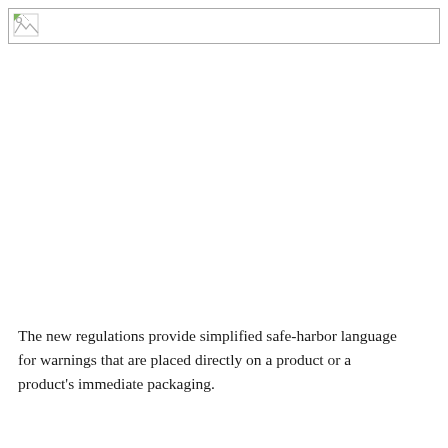[Figure (other): Broken image placeholder icon in top-left corner within a bordered header bar]
The new regulations provide simplified safe-harbor language for warnings that are placed directly on a product or a product's immediate packaging.